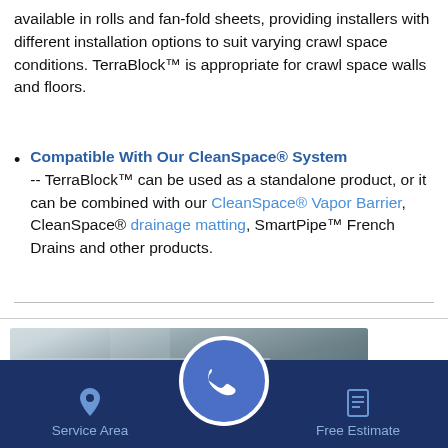available in rolls and fan-fold sheets, providing installers with different installation options to suit varying crawl space conditions. TerraBlock™ is appropriate for crawl space walls and floors.
Compatible With Our CleanSpace® System -- TerraBlock™ can be used as a standalone product, or it can be combined with our CleanSpace® Vapor Barrier, CleanSpace® drainage matting, SmartPipe™ French Drains and other products.
[Figure (photo): Photo of a reflective metallic/silver material surface, likely a vapor barrier or insulation product installed in a crawl space]
[Figure (infographic): Bottom navigation bar with dark blue background showing Service Area (map pin icon), phone call button (blue circle with phone icon in center), and Free Estimate (document icon)]